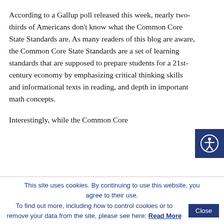According to a Gallup poll released this week, nearly two-thirds of Americans don't know what the Common Core State Standards are. As many readers of this blog are aware, the Common Core State Standards are a set of learning standards that are supposed to prepare students for a 21st-century economy by emphasizing critical thinking skills and informational texts in reading, and depth in important math concepts.
Interestingly, while the Common Core
[Figure (other): Accessibility icon button — dark navy blue square with a white accessibility/person icon (circle head with outstretched arms)]
This site uses cookies. By continuing to use this website, you agree to their use. To find out more, including how to control cookies or to remove your data from the site, please see here: Read More